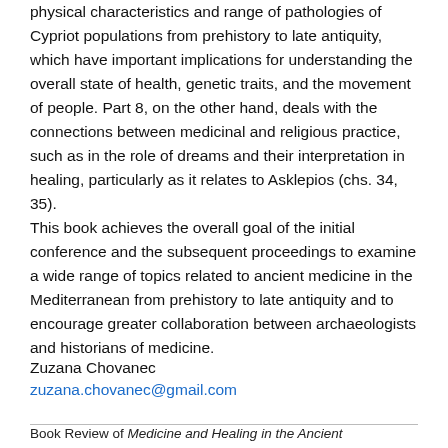physical characteristics and range of pathologies of Cypriot populations from prehistory to late antiquity, which have important implications for understanding the overall state of health, genetic traits, and the movement of people. Part 8, on the other hand, deals with the connections between medicinal and religious practice, such as in the role of dreams and their interpretation in healing, particularly as it relates to Asklepios (chs. 34, 35).
This book achieves the overall goal of the initial conference and the subsequent proceedings to examine a wide range of topics related to ancient medicine in the Mediterranean from prehistory to late antiquity and to encourage greater collaboration between archaeologists and historians of medicine.
Zuzana Chovanec
zuzana.chovanec@gmail.com
Book Review of Medicine and Healing in the Ancient Mediterranean